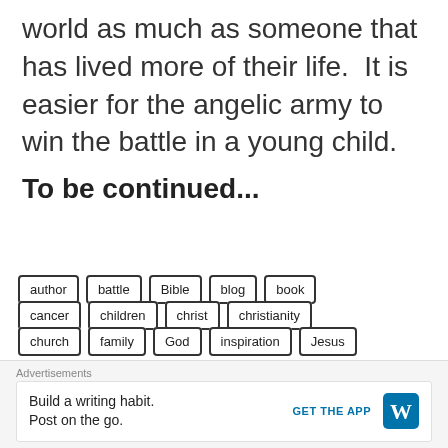world as much as someone that has lived more of their life.  It is easier for the angelic army to win the battle in a young child.
To be continued...
author
battle
Bible
blog
book
cancer
children
christ
christianity
church
family
God
inspiration
Jesus
Advertisements
Build a writing habit. Post on the go. GET THE APP